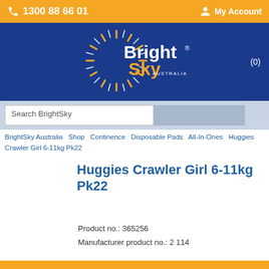1300 88 66 01   My Account
[Figure (logo): BrightSky Australia logo — sun rays in gold and white around a circle, with 'Bright' in white bold text and 'Sky' in gold bold text, 'AUSTRALIA' in small white text. Blue background.]
Search BrightSky
BrightSky Australia   Shop   Continence   Disposable Pads   All-In-Ones   Huggies Crawler Girl 6-11kg Pk22
Huggies Crawler Girl 6-11kg Pk22
Product no.: 365256
Manufacturer product no.: 2 114